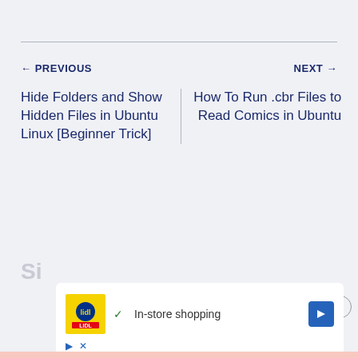← PREVIOUS
NEXT →
Hide Folders and Show Hidden Files in Ubuntu Linux [Beginner Trick]
How To Run .cbr Files to Read Comics in Ubuntu
Si...
[Figure (screenshot): Advertisement banner with Lidl logo showing In-store shopping with a checkmark and navigation arrow icon, plus ad control icons (play and close)]